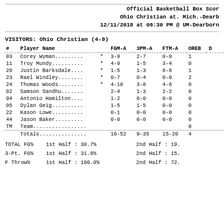Official Basketball Box Score
Ohio Christian at. Mich.-Dearb
12/11/2018 at 06:30 PM @ UM-Dearborn
VISITORS: Ohio Christian (4-9)
| # | Player Name |  | FGM-A | 3PM-A | FTM-A | OREB | D |
| --- | --- | --- | --- | --- | --- | --- | --- |
| 03 | Corey Wyman......... | * | 3-9 | 2-7 | 0-0 | 1 |  |
| 11 | Troy Mundy.......... | * | 4-9 | 1-5 | 3-4 | 0 |  |
| 20 | Justin Barksdale.... | * | 1-5 | 1-3 | 6-8 | 1 |  |
| 23 | Rael Windley........ | * | 0-7 | 0-4 | 0-0 | 2 |  |
| 24 | Thomas Woods........ | * | 4-10 | 3-8 | 4-6 | 0 |  |
| 02 | Samson Sandhu....... |  | 2-4 | 1-3 | 2-2 | 0 |  |
| 04 | Antonio Hamilton.... |  | 1-2 | 0-0 | 0-0 | 0 |  |
| 05 | Dylan Geig.......... |  | 1-5 | 1-5 | 0-0 | 0 |  |
| 22 | Kason Lowe.......... |  | 0-1 | 0-0 | 0-0 | 0 |  |
| 44 | Jason Baker......... |  | 0-0 | 0-0 | 0-0 | 0 |  |
| TM | Team................. |  |  |  |  | 0 |  |
|  | Totals............... |  | 16-52 | 9-35 | 15-20 | 4 |  |
TOTAL FG%   1st Half : 38.7%   2nd Half : 19.
3-Pt. FG%   1st Half : 31.8%   2nd Half : 15.
F Throw%    1st Half : 100.0%  2nd Half : 72.